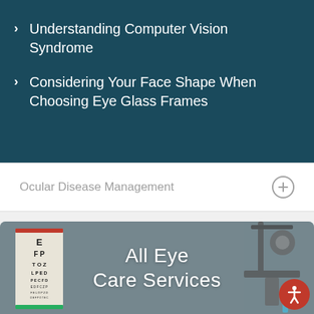Understanding Computer Vision Syndrome
Considering Your Face Shape When Choosing Eye Glass Frames
Ocular Disease Management
[Figure (photo): Eye care medical office with an eye chart on the left showing letters E, F P, T O Z, L P E D, P E C F D rows, and ophthalmic examination equipment on the right, with a blue accent element visible. Overlay text reads 'All Eye Care Services'. Accessibility icon button in bottom right corner.]